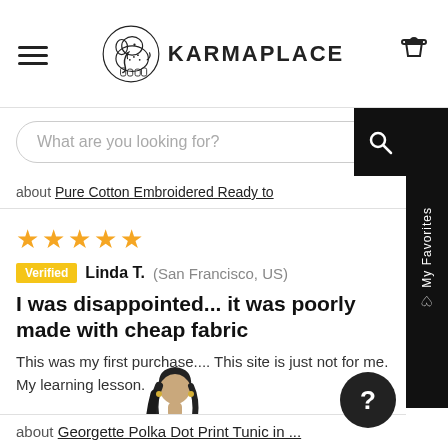KARMAPLACE
What are you looking for?
about Pure Cotton Embroidered Ready to
★★★★★ Verified Linda T. (San Francisco, US)
I was disappointed... it was poorly made with cheap fabric
This was my first purchase.... This site is just not for me. My learning lesson.
[Figure (photo): Woman wearing a black Georgette Polka Dot Print Tunic]
about Georgette Polka Dot Print Tunic in ...